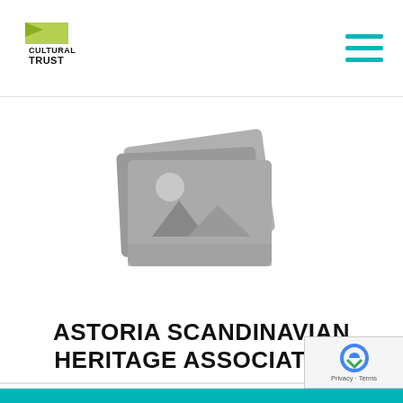Oregon Cultural Trust
[Figure (illustration): Placeholder image icon showing stacked photos with mountain landscape silhouette, gray color]
ASTORIA SCANDINAVIAN HERITAGE ASSOCIATION
The purpose of the Astoria Scandinavian Heritage Association is to preserve traditional Scandinavian culture and heritage through educational opportunities in areas of customs, language, food, the arts.